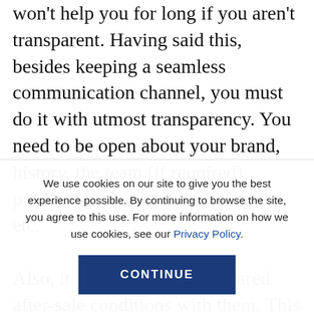won't help you for long if you aren't transparent. Having said this, besides keeping a seamless communication channel, you must do it with utmost transparency. You need to be open about your brand, history, the team (if required), product/service, features, benefits, etc.
Also, it would help if you shared after-sale conditions with them. This is one of the major points where customers feel ditched. Consider avoiding hidden clauses. Remember, they know the amount they are
We use cookies on our site to give you the best experience possible. By continuing to browse the site, you agree to this use. For more information on how we use cookies, see our Privacy Policy.
CONTINUE